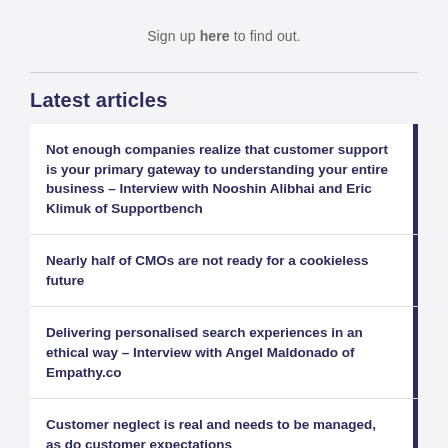Sign up here to find out.
Latest articles
Not enough companies realize that customer support is your primary gateway to understanding your entire business – Interview with Nooshin Alibhai and Eric Klimuk of Supportbench
Nearly half of CMOs are not ready for a cookieless future
Delivering personalised search experiences in an ethical way – Interview with Angel Maldonado of Empathy.co
Customer neglect is real and needs to be managed, as do customer expectations